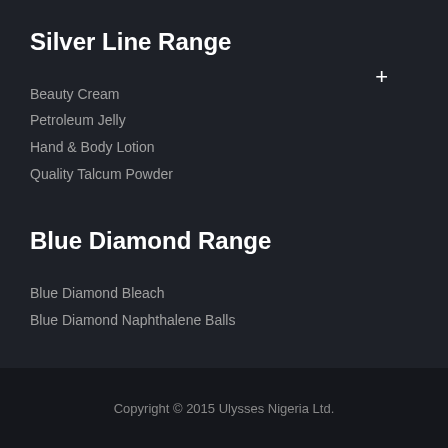Silver Line Range
Beauty Cream
Petroleum Jelly
Hand & Body Lotion
Quality Talcum Powder
Blue Diamond Range
Blue Diamond Bleach
Blue Diamond Naphthalene Balls
Copyright © 2015 Ulysses Nigeria Ltd.